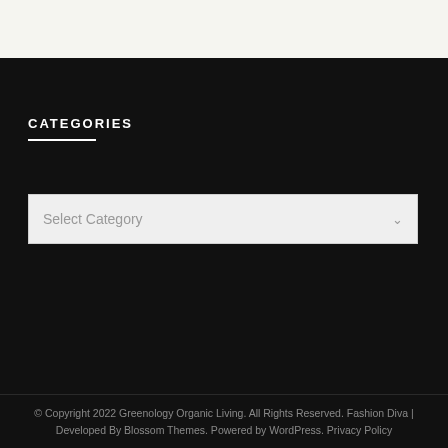CATEGORIES
Select Category
© Copyright 2022 Greenology Organic Living. All Rights Reserved. Fashion Diva | Developed By Blossom Themes. Powered by WordPress. Privacy Policy